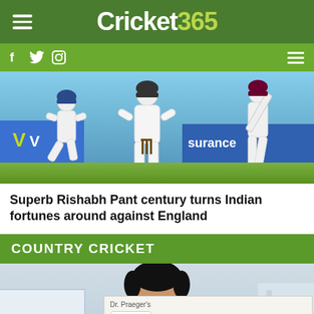Cricket 365
[Figure (photo): Cricket players in white uniforms during a match, with advertising boards in the background reading 'surance']
Superb Rishabh Pant century turns Indian fortunes around against England
COUNTRY CRICKET
[Figure (photo): Person with dark hair in front of a cricket stadium, with a Dr. Praeger's Sensible Foods advertisement overlay]
Dr. Praeger's
Dr. Praeger's Sensible Foods®